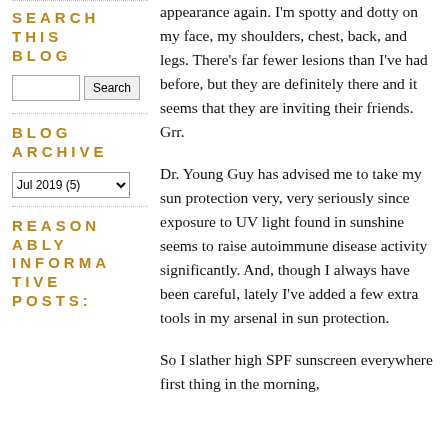SEARCH THIS BLOG
Search
BLOG ARCHIVE
Jul 2019 (5)
REASONABLY INFORMATIVE POSTS:
appearance again. I'm spotty and dotty on my face, my shoulders, chest, back, and legs. There's far fewer lesions than I've had before, but they are definitely there and it seems that they are inviting their friends. Grr.
Dr. Young Guy has advised me to take my sun protection very, very seriously since exposure to UV light found in sunshine seems to raise autoimmune disease activity significantly. And, though I always have been careful, lately I've added a few extra tools in my arsenal in sun protection.
So I slather high SPF sunscreen everywhere first thing in the morning,